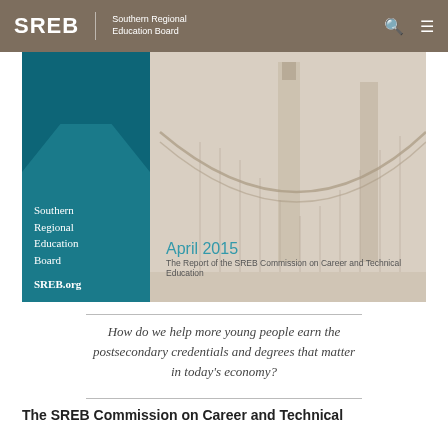SREB | Southern Regional Education Board
[Figure (screenshot): Cover image for SREB Commission on Career and Technical Education report, April 2015. Left panel: teal background with text 'Southern Regional Education Board' and 'SREB.org'. Right panel: sepia-toned suspension bridge photo with 'April 2015' in teal and subtitle 'The Report of the SREB Commission on Career and Technical Education'.]
How do we help more young people earn the postsecondary credentials and degrees that matter in today's economy?
The SREB Commission on Career and Technical